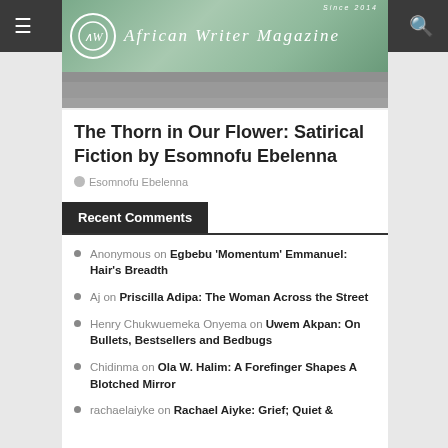African Writer Magazine
The Thorn in Our Flower: Satirical Fiction by Esomnofu Ebelenna
Esomnofu Ebelenna
Recent Comments
Anonymous on Egbebu 'Momentum' Emmanuel: Hair's Breadth
Aj on Priscilla Adipa: The Woman Across the Street
Henry Chukwuemeka Onyema on Uwem Akpan: On Bullets, Bestsellers and Bedbugs
Chidinma on Ola W. Halim: A Forefinger Shapes A Blotched Mirror
rachaelaiyke on Rachael Aiyke: Grief; Quiet &